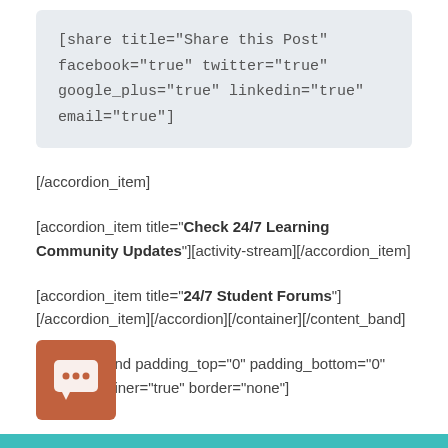[share title="Share this Post" facebook="true" twitter="true" google_plus="true" linkedin="true" email="true"]
[/accordion_item]
[accordion_item title="Check 24/7 Learning Community Updates"][activity-stream][/accordion_item]
[accordion_item title="24/7 Student Forums"] [/accordion_item][/accordion][/container][/content_band]
[content_band padding_top="0" padding_bottom="0" inner_container="true" border="none"]
[Figure (illustration): Orange/brown chat bubble icon with three dots on a rounded square background]